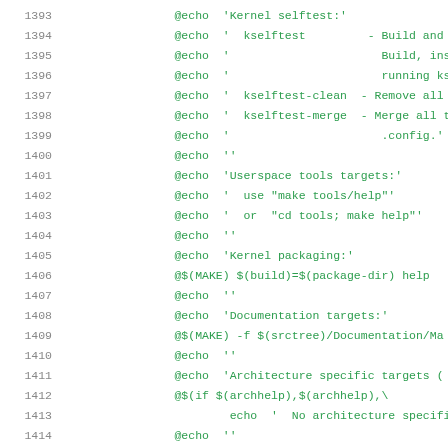Code listing lines 1393-1414, Makefile source code with @echo and @$(MAKE) commands for kernel build targets